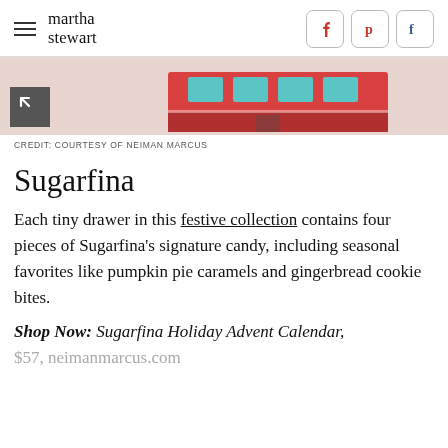martha stewart
[Figure (illustration): Partial view of a festive holiday advent calendar illustration with red and teal colors on a pink/beige background, with an expand/fullscreen icon in the lower left corner.]
CREDIT: COURTESY OF NEIMAN MARCUS
Sugarfina
Each tiny drawer in this festive collection contains four pieces of Sugarfina's signature candy, including seasonal favorites like pumpkin pie caramels and gingerbread cookie bites.
Shop Now: Sugarfina Holiday Advent Calendar, $57, neimanmarcus.com